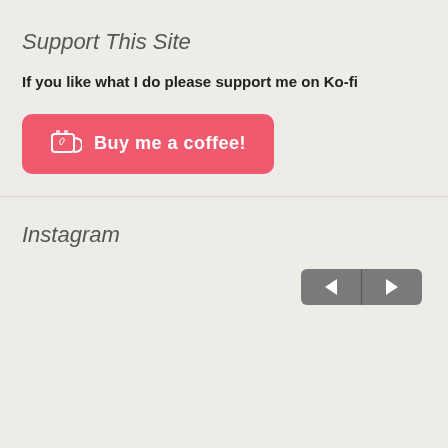Support This Site
If you like what I do please support me on Ko-fi
[Figure (other): Ko-fi button with coffee cup icon and text 'Buy me a coffee!']
Instagram
[Figure (other): Navigation buttons with left and right arrows for Instagram gallery]